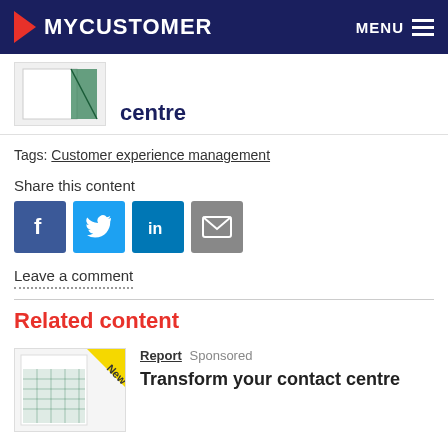MYCUSTOMER  MENU
centre
Tags: Customer experience management
Share this content
[Figure (other): Social share icons: Facebook, Twitter, LinkedIn, Email]
Leave a comment
Related content
[Figure (other): Report thumbnail with New badge - Transform your contact centre]
Report  Sponsored
Transform your contact centre